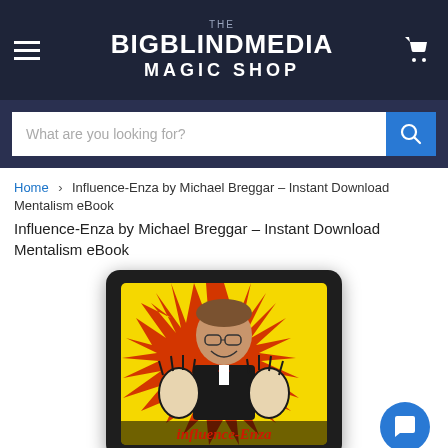THE BIGBLINDMEDIA MAGIC SHOP
What are you looking for?
Home › Influence-Enza by Michael Breggar – Instant Download Mentalism eBook
Influence-Enza by Michael Breggar – Instant Download Mentalism eBook
[Figure (photo): Product cover image displayed on a tablet frame. Shows a smiling man in a tuxedo with red bow tie, hands spread wide with illustrated glove-like outlines, against a yellow and red starburst background. Text at bottom reads 'Influence-Enza' in stylized red font.]